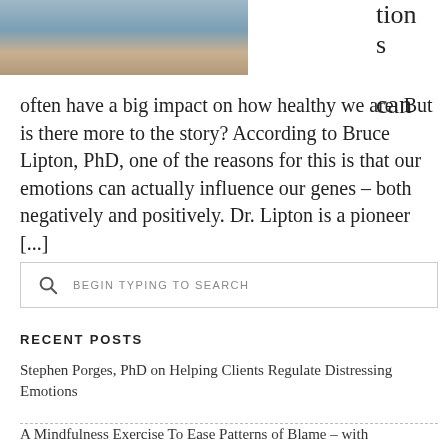[Figure (photo): Partial photo of a bearded man in a blue shirt, cropped at top]
tions can
often have a big impact on how healthy we are. But is there more to the story? According to Bruce Lipton, PhD, one of the reasons for this is that our emotions can actually influence our genes – both negatively and positively. Dr. Lipton is a pioneer [...]
BEGIN TYPING TO SEARCH
RECENT POSTS
Stephen Porges, PhD on Helping Clients Regulate Distressing Emotions
A Mindfulness Exercise To Ease Patterns of Blame – with